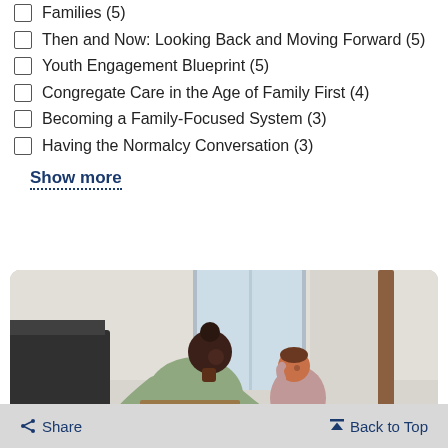Families (5)
Then and Now: Looking Back and Moving Forward (5)
Youth Engagement Blueprint (5)
Congregate Care in the Age of Family First (4)
Becoming a Family-Focused System (3)
Having the Normalcy Conversation (3)
Show more
[Figure (photo): A woman leaning over a kitchen counter with a young child nearby, indoor setting with window and wooden cutting board visible]
Share   Back to Top